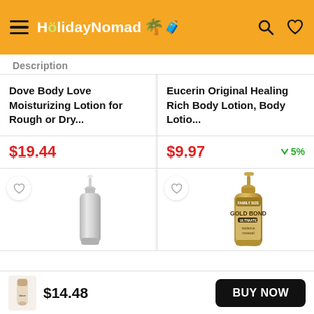[Figure (screenshot): HolidayNomad app header with hamburger menu, logo, search and heart icons on orange background]
Description
Dove Body Love Moisturizing Lotion for Rough or Dry...
$19.44
Eucerin Original Healing Rich Body Lotion, Body Lotio...
$9.97
↓ 5%
[Figure (photo): Silver pump dispenser bottle]
[Figure (photo): Gold Bond lotion bottle (family size, radiance renewal)]
[Figure (photo): Small product thumbnail at bottom bar]
$14.48
BUY NOW